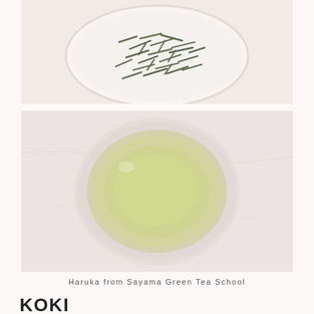[Figure (photo): Top-down view of dried green tea leaves in a small white ceramic bowl on a light pinkish-white marble surface]
[Figure (photo): Top-down view of a glass cup filled with pale yellow-green brewed green tea on a light marble surface]
Haruka from Sayama Green Tea School
KOKI